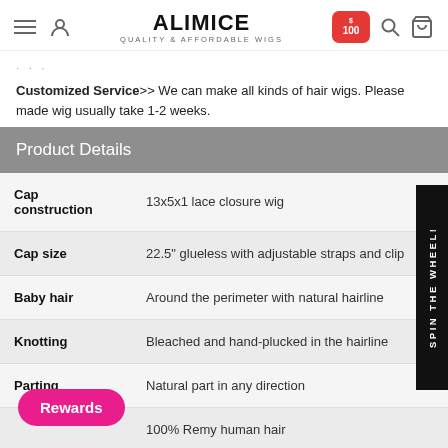ALIMICE — QUALITY & AFFORDABLE WIGS
Customized Service>> We can make all kinds of hair wigs. Please made wig usually take 1-2 weeks.
Product Details
|  |  |
| --- | --- |
| Cap construction | 13x5x1 lace closure wig |
| Cap size | 22.5" glueless with adjustable straps and clips |
| Baby hair | Around the perimeter with natural hairline |
| Knotting | Bleached and hand-plucked in the hairline |
| Parting | Natural part in any direction |
| Hair material | 100% Remy human hair |
| Density | 180% |